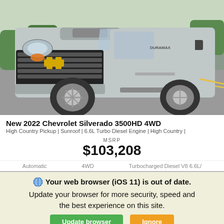[Figure (photo): Front 3/4 view of a silver 2022 Chevrolet Silverado 3500HD 4WD pickup truck parked on a dealer lot]
New 2022 Chevrolet Silverado 3500HD 4WD
High Country Pickup | Sunroof | 6.6L Turbo Diesel Engine | High Country |
MSRP
$103,208
Automatic    4WD    Turbocharged Diesel V8 6.6L/
Your web browser (iOS 11) is out of date. Update your browser for more security, speed and the best experience on this site.
Update browser    Ignore